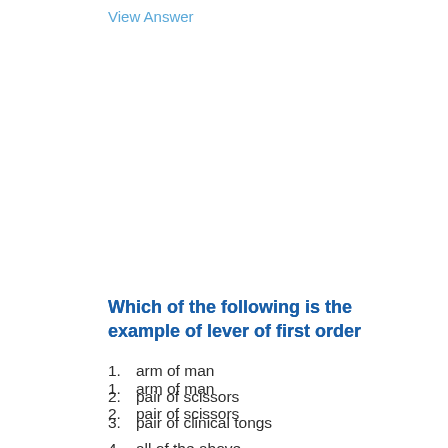View Answer
Which of the following is the example of lever of first order
1. arm of man
2. pair of scissors
3. pair of clinical tongs
4. all of the above